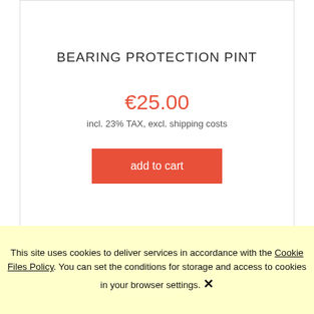BEARING PROTECTION PINT
€25.00
incl. 23% TAX, excl. shipping costs
add to cart
This site uses cookies to deliver services in accordance with the Cookie Files Policy. You can set the conditions for storage and access to cookies in your browser settings. ✕